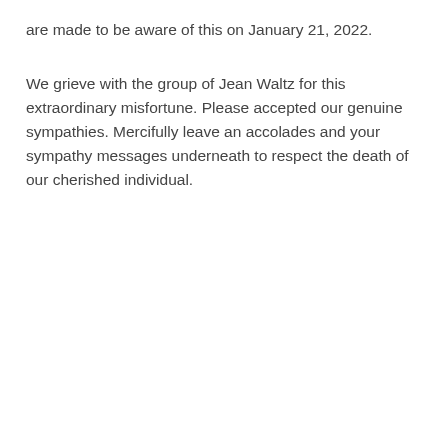are made to be aware of this on January 21, 2022.
We grieve with the group of Jean Waltz for this extraordinary misfortune. Please accepted our genuine sympathies. Mercifully leave an accolades and your sympathy messages underneath to respect the death of our cherished individual.